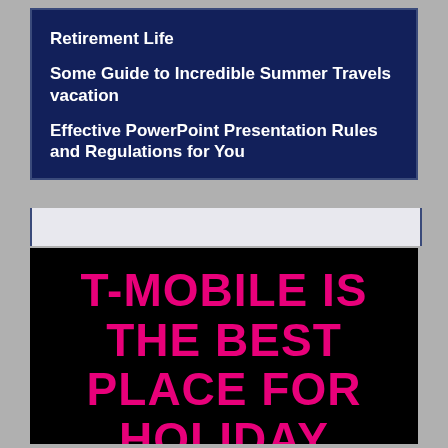Retirement Life
Some Guide to Incredible Summer Travels vacation
Effective PowerPoint Presentation Rules and Regulations for You
[Figure (screenshot): Black background banner with large magenta/pink bold text reading: T-MOBILE IS THE BEST PLACE FOR HOLIDAY DEALS]